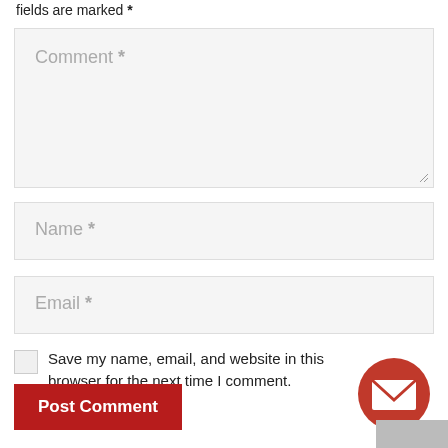fields are marked *
Comment *
Name *
Email *
Save my name, email, and website in this browser for the next time I comment.
Post Comment